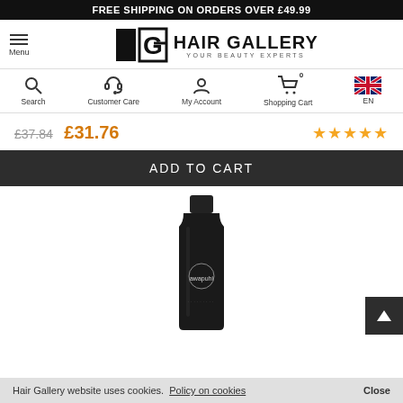FREE SHIPPING ON ORDERS OVER £49.99
[Figure (logo): Hair Gallery logo with HG icon and tagline 'YOUR BEAUTY EXPERTS']
[Figure (infographic): Navigation icons: Search, Customer Care, My Account, Shopping Cart (0), EN language selector with UK flag]
£37.84  £31.76  ★★★★★
ADD TO CART
[Figure (photo): Dark black cylindrical hair product bottle with Awapuhi branding]
Hair Gallery website uses cookies.  Policy on cookies  Close